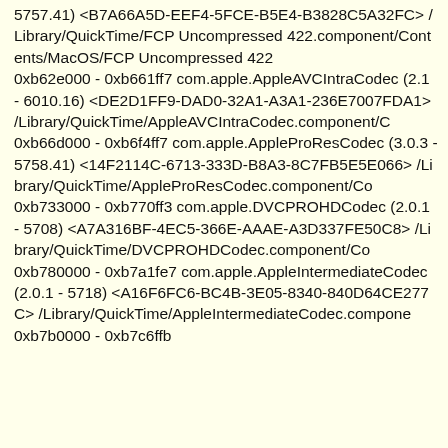5757.41) <B7A66A5D-EEF4-5FCE-B5E4-B3828C5A32FC> /Library/QuickTime/FCP Uncompressed 422.component/Contents/MacOS/FCP Uncompressed 422
0xb62e000 - 0xb661ff7 com.apple.AppleAVCIntraCodec (2.1 - 6010.16) <DE2D1FF9-DAD0-32A1-A3A1-236E7007FDA1> /Library/QuickTime/AppleAVCIntraCodec.component/C
0xb66d000 - 0xb6f4ff7 com.apple.AppleProResCodec (3.0.3 - 5758.41) <14F2114C-6713-333D-B8A3-8C7FB5E5E066> /Library/QuickTime/AppleProResCodec.component/Co
0xb733000 - 0xb770ff3 com.apple.DVCPROHDCodec (2.0.1 - 5708) <A7A316BF-4EC5-366E-AAAE-A3D337FE50C8> /Library/QuickTime/DVCPROHDCodec.component/Co
0xb780000 - 0xb7a1fe7 com.apple.AppleIntermediateCodec (2.0.1 - 5718) <A16F6FC6-BC4B-3E05-8340-840D64CE277C> /Library/QuickTime/AppleIntermediateCodec.compone
0xb7b0000 - 0xb7c6ffb